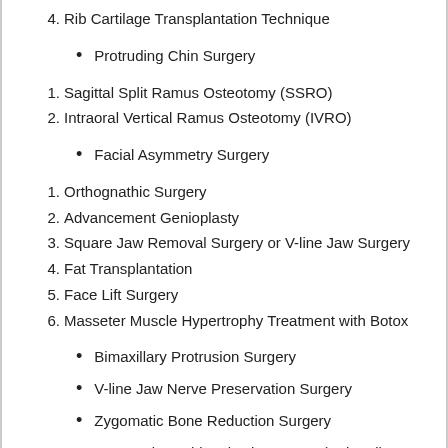4. Rib Cartilage Transplantation Technique
• Protruding Chin Surgery
1. Sagittal Split Ramus Osteotomy (SSRO)
2. Intraoral Vertical Ramus Osteotomy (IVRO)
• Facial Asymmetry Surgery
1. Orthognathic Surgery
2. Advancement Genioplasty
3. Square Jaw Removal Surgery or V-line Jaw Surgery
4. Fat Transplantation
5. Face Lift Surgery
6. Masseter Muscle Hypertrophy Treatment with Botox
• Bimaxillary Protrusion Surgery
• V-line Jaw Nerve Preservation Surgery
• Zygomatic Bone Reduction Surgery
• Non-Implant Rhinoplastic Surgery (Using rib